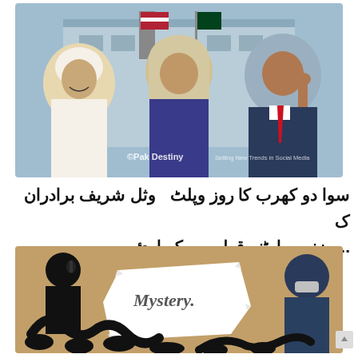[Figure (photo): Photo of three people in front of a building with American and Pakistani flags. A man in traditional Arab dress on the left, a woman in a headscarf in the center, and a man in a suit with a red tie on the right. Watermark reads 'Pak Destiny' and 'Setting New Trends in Social Media'.]
سوا دو کھرب کا روز وپلٹ   وثل شریف برادران ک ... بزنس پارٹنر قطریوں کو اوئ
[Figure (photo): A mystery-themed image showing silhouettes of hands reaching toward a torn paper revealing the word 'Mystery.' on a sandy/brown textured background. A figure wearing a mask is visible on the right side.]